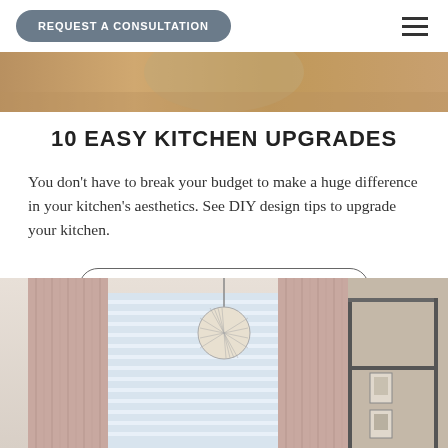REQUEST A CONSULTATION
[Figure (photo): Partial view of a kitchen scene at the top of the page]
10 EASY KITCHEN UPGRADES
You don’t have to break your budget to make a huge difference in your kitchen’s aesthetics. See DIY design tips to upgrade your kitchen.
MORE ABOUT KITCHEN UPGRADES
[Figure (photo): Interior room with pink pleated curtains, a globe pendant light, white horizontal blinds on windows, and a glass-and-metal room divider, small framed artwork on the wall]